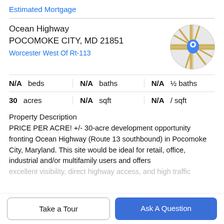Estimated Mortgage
Ocean Highway
POCOMOKE CITY, MD 21851
Worcester West Of Rt-113
[Figure (map): Circular map thumbnail showing road map with blue location pin marker]
| N/A beds | N/A baths | N/A ½ baths |
| 30 acres | N/A sqft | N/A / sqft |
Property Description
PRICE PER ACRE! +/- 30-acre development opportunity fronting Ocean Highway (Route 13 southbound) in Pocomoke City, Maryland. This site would be ideal for retail, office, industrial and/or multifamily users and offers excellent visibility, direct highway access, and high traffic
Take a Tour
Ask A Question